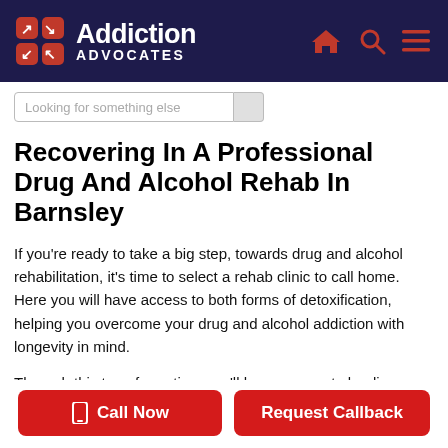Addiction Advocates
[Figure (logo): Addiction Advocates logo with red cross icon on dark navy background, and red home, search, and menu icons on the right]
Looking for something else
Recovering In A Professional Drug And Alcohol Rehab In Barnsley
If you're ready to take a big step, towards drug and alcohol rehabilitation, it's time to select a rehab clinic to call home. Here you will have access to both forms of detoxification, helping you overcome your drug and alcohol addiction with longevity in mind.
Through this transformation, you'll have access to leading addiction treatment options, a personal rehab
Call Now
Request Callback